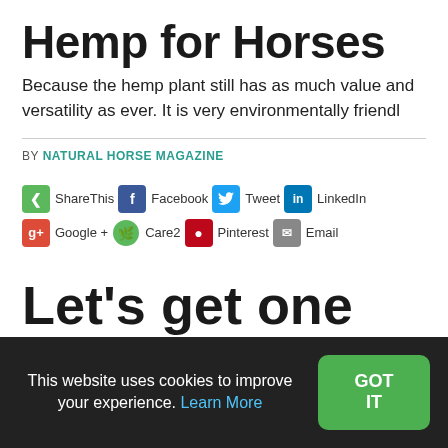Hemp for Horses
Because the hemp plant still has as much value and versatility as ever. It is very environmentally friendl
BY NATURAL HORSE MAGAZINE
[Figure (infographic): Social sharing buttons row: ShareThis, Facebook, Tweet, LinkedIn, Google+, Care2, Pinterest, Email]
Let's get one thing
This website uses cookies to improve your experience. Learn More